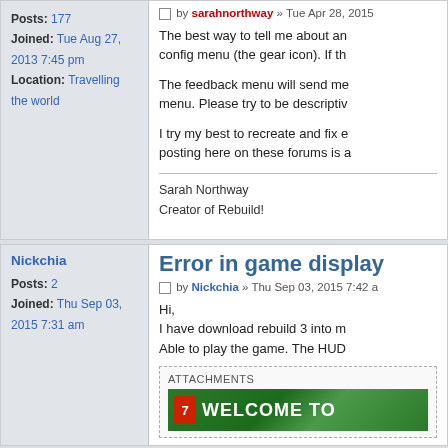Posts: 177
Joined: Tue Aug 27, 2013 7:45 pm
Location: Travelling the world
by sarahnorthway » Tue Apr 28, 2015
The best way to tell me about an... config menu (the gear icon). If th...
The feedback menu will send me... menu. Please try to be descriptiv...
I try my best to recreate and fix e... posting here on these forums is a...
Sarah Northway
Creator of Rebuild!
Nickchia
Error in game display
Posts: 2
Joined: Thu Sep 03, 2015 7:31 am
by Nickchia » Thu Sep 03, 2015 7:42 a...
Hi,
I have download rebuild 3 into m...
Able to play the game. The HUD...
ATTACHMENTS
[Figure (screenshot): Screenshot showing a green sign with text WELCOME TO]